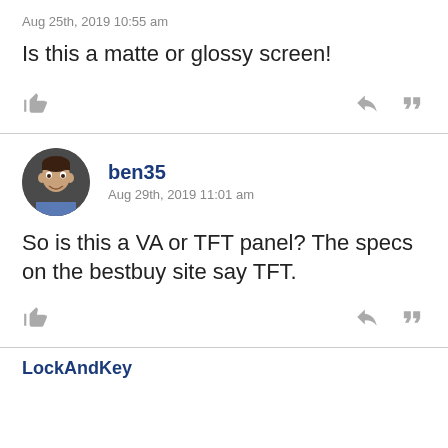Aug 25th, 2019 10:55 am
Is this a matte or glossy screen!
ben35
Aug 29th, 2019 11:01 am
So is this a VA or TFT panel? The specs on the bestbuy site say TFT.
LockAndKey